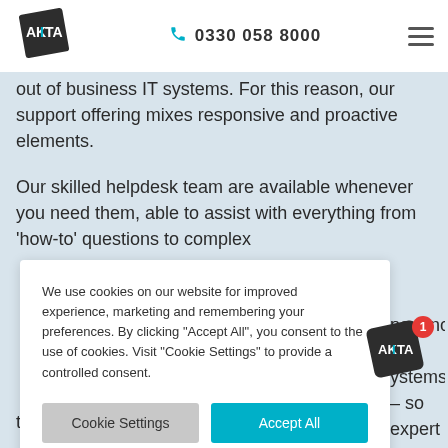AKITA | 0330 058 8000
out of business IT systems. For this reason, our support offering mixes responsive and proactive elements.
Our skilled helpdesk team are available whenever you need them, able to assist with everything from ‘how-to’ questions to complex [issues]. [Exp]erienced in [various s]ystems – so [you have an] expert to [turn to].
We use cookies on our website for improved experience, marketing and remembering your preferences. By clicking “Accept All”, you consent to the use of cookies. Visit “Cookie Settings” to provide a controlled consent.
[...systems to ...ingto[n] ...es so tha[t]
they don’t happen during working hours, to